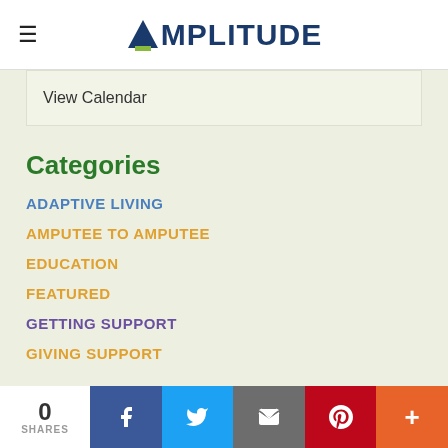AMPLITUDE
View Calendar
Categories
ADAPTIVE LIVING
AMPUTEE TO AMPUTEE
EDUCATION
FEATURED
GETTING SUPPORT
GIVING SUPPORT
0 SHARES | Facebook | Twitter | Email | Pinterest | More